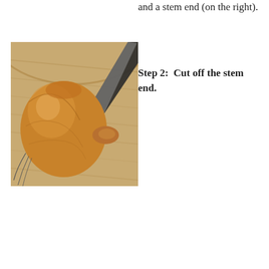and a stem end (on the right).
[Figure (photo): An onion with its stem end visible, resting on a wooden cutting board next to a dark chef's knife. The onion is golden-brown skinned with roots at the left and the stem protrusion at the right.]
Step 2:  Cut off the stem end.